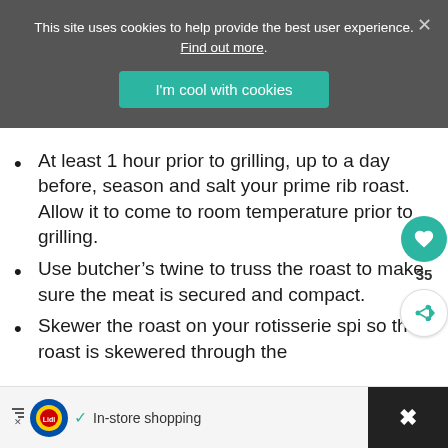This site uses cookies to help provide the best user experience. Find out more. [I'm cool with cookies button]
At least 1 hour prior to grilling, up to a day before, season and salt your prime rib roast. Allow it to come to room temperature prior to grilling.
Use butcher’s twine to truss the roast to make sure the meat is secured and compact.
Skewer the roast on your rotisserie spi... so that roast is skewered through the
In-store shopping [Lidl ad banner]